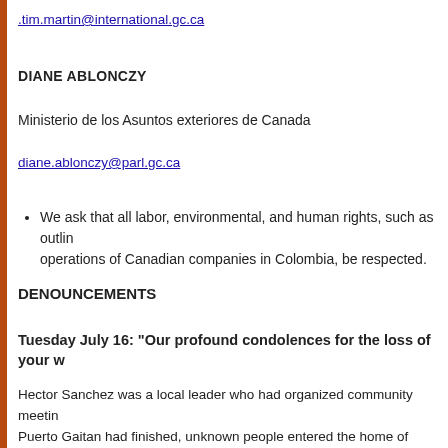.tim.martin@international.gc.ca
DIANE ABLONCZY
Ministerio de los Asuntos exteriores de Canada
diane.ablonczy@parl.gc.ca
We ask that all labor, environmental, and human rights, such as outlined operations of Canadian companies in Colombia, be respected.
DENOUNCEMENTS
Tuesday July 16:  "Our profound condolences for the loss of your w
Hector Sanchez was a local leader who had organized community meetings Puerto Gaitan had finished, unknown people entered the home of Hector newspaper letters, the following death threat: